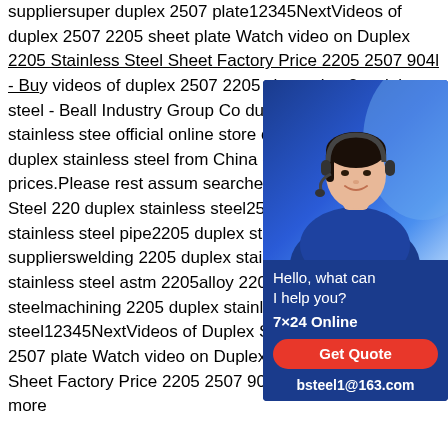suppliersuper duplex 2507 plate12345NextVideos of duplex 2507 2205 sheet plate Watch video on Duplex 2205 Stainless Steel Sheet Factory Price 2205 2507 904l - Buy videos of duplex 2507 2205 sheet plate2 stainless steel - Beall Industry Group Co durable 2205/2507 duplex stainless stee official online store of Beall Factory.Our d duplex stainless steel from China comes sizes,styles and prices.Please rest assum searches for Duplex Stainless Steel 220 duplex stainless steel2507 duplex stainle duplex stainless steel pipe2205 duplex stainless steel supplierswelding 2205 duplex stainless steelduplex stainless steel astm 2205alloy 2205 duplex stainless steelmachining 2205 duplex stainless steel12345NextVideos of Duplex Stainless Steel 2205 2507 plate Watch video on Duplex 2205 Stainless Steel Sheet Factory Price 2205 2507 904l - Buy Duplex 2See more
[Figure (photo): Chat widget showing a customer service representative wearing a headset, with a dark blue background. Below the photo: 'Hello, what can I help you?' text, '7×24 Online' in bold white, a red 'Get Quote' button, and 'bsteel1@163.com' email address.]